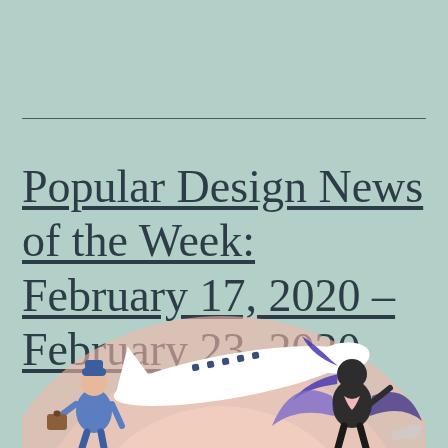Popular Design News of the Week: February 17, 2020 – February 23, 2020
[Figure (illustration): Colorful flat illustration showing people with luggage near an airplane, themed around travel. Characters include a figure in blue with a suitcase and a dark-haired figure with wings or a cape, set against pink and white concentric arc shapes.]